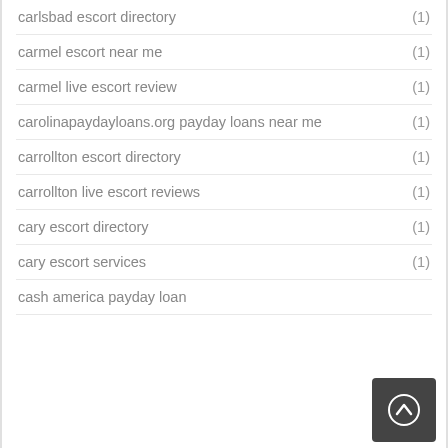carlsbad escort directory (1)
carmel escort near me (1)
carmel live escort review (1)
carolinapaydayloans.org payday loans near me (1)
carrollton escort directory (1)
carrollton live escort reviews (1)
cary escort directory (1)
cary escort services (1)
cash america payday loan